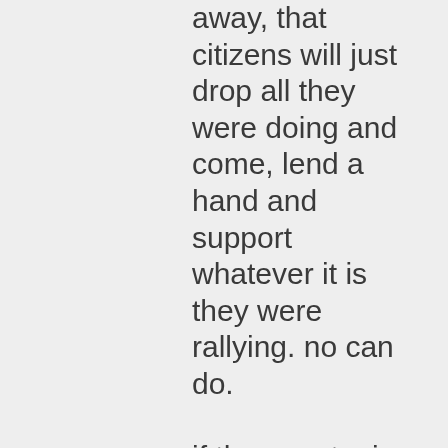away, that citizens will just drop all they were doing and come, lend a hand and support whatever it is they were rallying. no can do.

if the country is going to be obliterated, then all will go